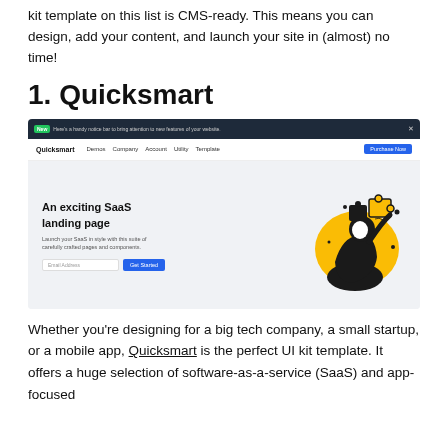kit template on this list is CMS-ready. This means you can design, add your content, and launch your site in (almost) no time!
1. Quicksmart
[Figure (screenshot): Screenshot of the Quicksmart website template showing a dark navigation bar with a green 'New' badge and notice text, a white menu bar with the Quicksmart logo and nav links (Demos, Company, Account, Utility, Template) and a blue Purchase Now button, and a hero section with 'An exciting SaaS landing page' heading, subtitle text, email input and Get Started button on the left, and an illustrated character holding puzzle pieces on the right.]
Whether you're designing for a big tech company, a small startup, or a mobile app, Quicksmart is the perfect UI kit template. It offers a huge selection of software-as-a-service (SaaS) and app-focused